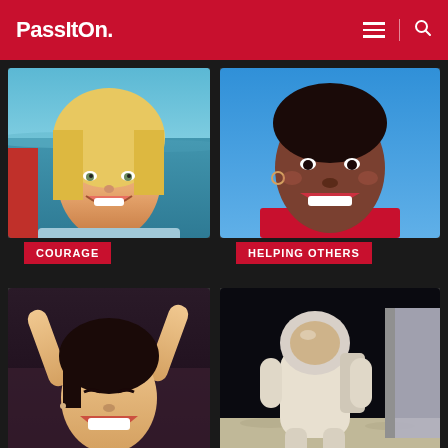PassItOn.
[Figure (photo): Young blonde woman smiling at beach, blue water in background]
[Figure (photo): Smiling Black woman wearing red, outdoors against blue sky]
COURAGE
HELPING OTHERS
[Figure (photo): Asian woman with arms raised, smiling joyfully, celebrating]
[Figure (photo): Astronaut in white spacesuit on the moon surface]
DEDICATION
ACHIEVEMENT